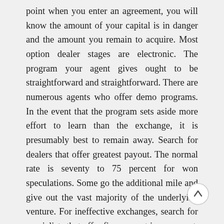point when you enter an agreement, you will know the amount of your capital is in danger and the amount you remain to acquire. Most option dealer stages are electronic. The program your agent gives ought to be straightforward and straightforward. There are numerous agents who offer demo programs. In the event that the program sets aside more effort to learn than the exchange, it is presumably best to remain away. Search for dealers that offer greatest payout. The normal rate is seventy to 75 percent for won speculations. Some go the additional mile and give out the vast majority of the underlying venture. For ineffective exchanges, search for specialists that offer five percent in any event. Achievement lies in the correspondence line among you and your